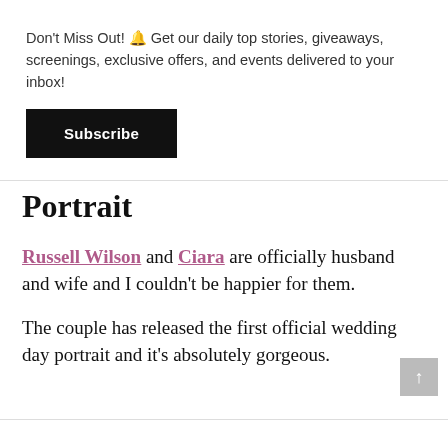Don't Miss Out! 🔔 Get our daily top stories, giveaways, screenings, exclusive offers, and events delivered to your inbox!
Subscribe
Portrait
Russell Wilson and Ciara are officially husband and wife and I couldn't be happier for them.
The couple has released the first official wedding day portrait and it's absolutely gorgeous.